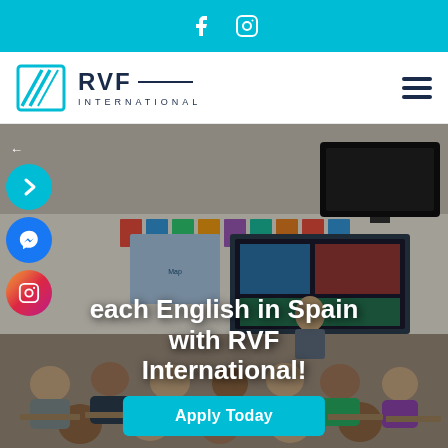Social media icons: Facebook, Instagram
[Figure (logo): RVF International logo with stylized arrow/chevron icon and company name]
[Figure (photo): Classroom scene showing students seated at desks facing a teacher in front of a large interactive whiteboard with colorful educational posters on the wall]
Teach English in Spain with RVF International!
Apply Today